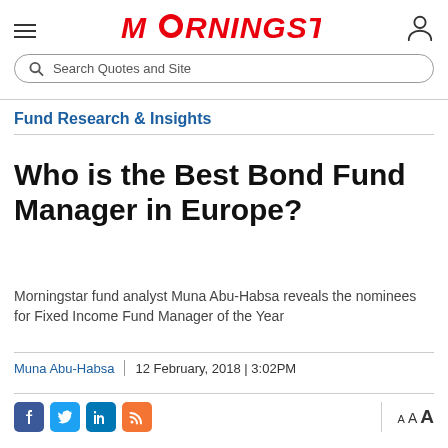MORNINGSTAR — Search Quotes and Site
Fund Research & Insights
Who is the Best Bond Fund Manager in Europe?
Morningstar fund analyst Muna Abu-Habsa reveals the nominees for Fixed Income Fund Manager of the Year
Muna Abu-Habsa | 12 February, 2018 | 3:02PM
Social share icons and font size controls: A A A